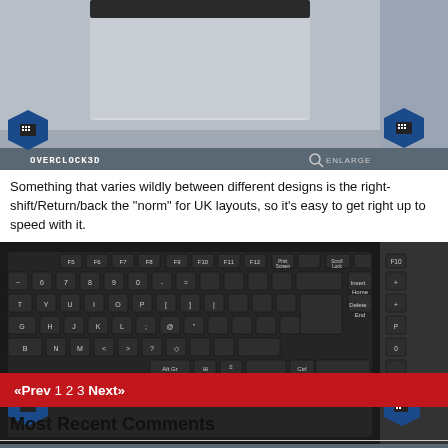[Figure (photo): Close-up photo of laptop corner/hinge area, partially visible. Overclock3D watermark bar at bottom with ENLARGE button.]
Something that varies wildly between different designs is the right-shift/Return/back the "norm" for UK layouts, so it's easy to get right up to speed with it.
[Figure (photo): Photo of laptop keyboard showing function keys, letter keys, and navigation keys. Black keyboard layout. Overclock3D watermark bar at bottom with ENLARGE button.]
«Prev 1 2 3 Next»
Most Recent Comments